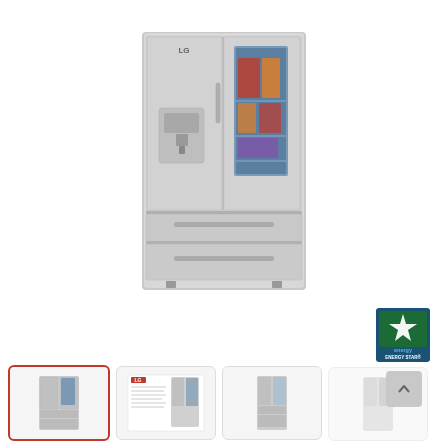[Figure (photo): LG French door refrigerator with InstaView window panel on right door, water/ice dispenser on left door, two bottom freezer drawers, stainless steel finish]
[Figure (logo): ENERGY STAR certification logo, blue and green]
[Figure (photo): Row of four product thumbnail images at bottom: first selected (red border) showing refrigerator front view, second showing LG spec sheet, third showing side detail, fourth partially obscured with scroll-up button overlay]